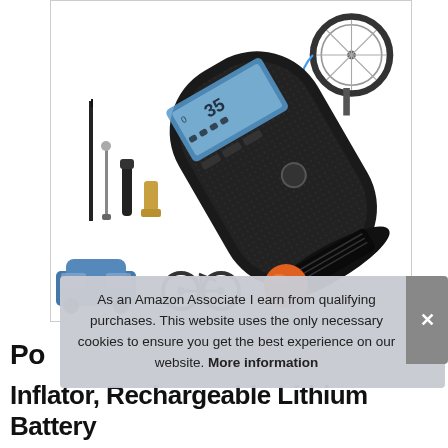[Figure (photo): Product photo of a portable tire inflator/air pump with LCD display, shown with accessories including needle adapters, brass valve adapter, and rubber tip. Background shows a bicycle wheel being inflated. The pump is black, cylindrical with textured grip.]
As an Amazon Associate I earn from qualifying purchases. This website uses the only necessary cookies to ensure you get the best experience on our website. More information
Po
Inflator, Rechargeable Lithium Battery